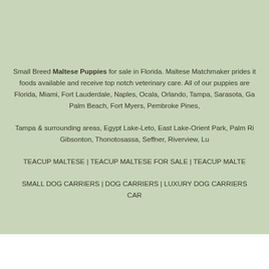Small Breed Maltese Puppies for sale in Florida. Maltese Matchmaker prides it... foods available and receive top notch veterinary care. All of our puppies are ... Florida, Miami, Fort Lauderdale, Naples, Ocala, Orlando, Tampa, Sarasota, Ga... Palm Beach, Fort Myers, Pembroke Pines,
Tampa & surrounding areas, Egypt Lake-Leto, East Lake-Orient Park, Palm Ri... Gibsonton, Thonotosassa, Seffner, Riverview, Lu...
TEACUP MALTESE | TEACUP MALTESE FOR SALE | TEACUP MALTE...
SMALL DOG CARRIERS | DOG CARRIERS | LUXURY DOG CARRIERS ... CAR...